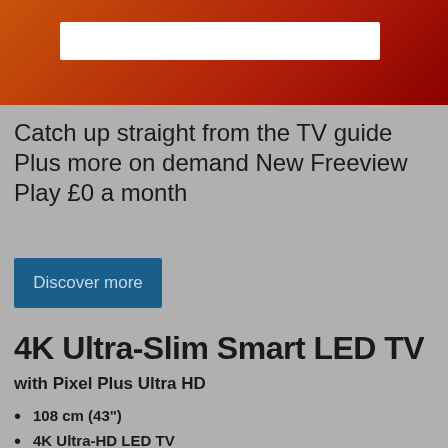[Figure (other): Red/orange gradient header banner with a white search bar input]
Catch up straight from the TV guide Plus more on demand New Freeview Play £0 a month
Discover more
4K Ultra-Slim Smart LED TV
with Pixel Plus Ultra HD
108 cm (43")
4K Ultra-HD LED TV
Quad Core